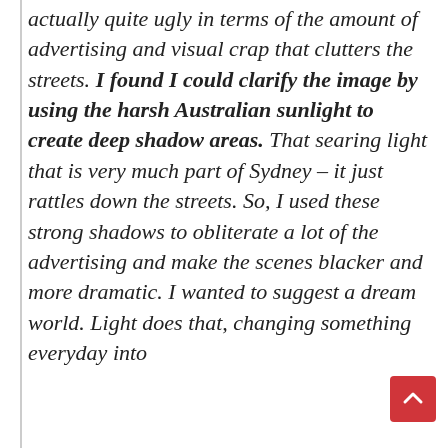actually quite ugly in terms of the amount of advertising and visual crap that clutters the streets. I found I could clarify the image by using the harsh Australian sunlight to create deep shadow areas. That searing light that is very much part of Sydney – it just rattles down the streets. So, I used these strong shadows to obliterate a lot of the advertising and make the scenes blacker and more dramatic. I wanted to suggest a dream world. Light does that, changing something everyday into